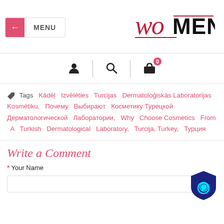[Figure (logo): WO-MEN magazine logo with stylized cursive 'wo' in red and bold 'MEN' in black with underline]
[Figure (infographic): Navigation icons: user profile icon, search icon, shopping bag icon with red badge showing 0]
Tags Kādēļ Izvēlēties Turcijas Dermatoloģiskās Laboratorijas Kosmētiku, Почему Выбирают Косметику Турецкой Дерматологической Лаборатории, Why Choose Cosmetics From A Turkish Dermatological Laboratory, Turcija, Turkey, Турция
Write a Comment
* Your Name